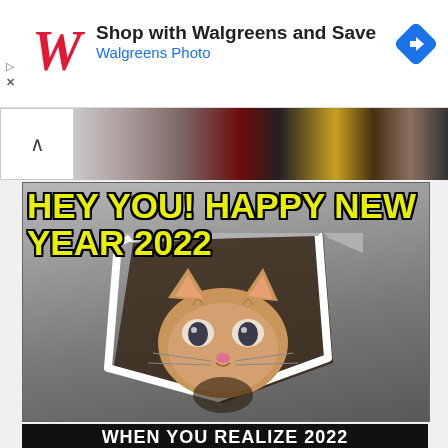[Figure (screenshot): Walgreens advertisement banner with Walgreens logo (red cursive W), text 'Shop with Walgreens and Save' and 'Walgreens Photo' in blue, and a blue diamond navigation icon on the right.]
[Figure (photo): Partial view of a collapsed/minimized image strip showing people, with a caret/up arrow collapse button on the left.]
[Figure (illustration): Meme image of the 'Ceiling Cat' internet meme: a tabby cat peering through a hole in a white ceiling/wall, with yellow bold text at top reading 'HEY YOU! HAPPY NEW YEAR 2022']
WHEN YOU REALIZE 2022